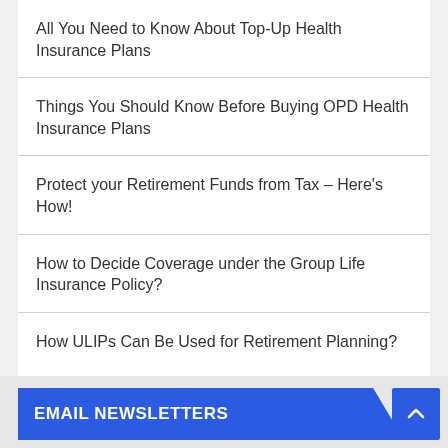All You Need to Know About Top-Up Health Insurance Plans
Things You Should Know Before Buying OPD Health Insurance Plans
Protect your Retirement Funds from Tax – Here's How!
How to Decide Coverage under the Group Life Insurance Policy?
How ULIPs Can Be Used for Retirement Planning?
EMAIL NEWSLETTERS